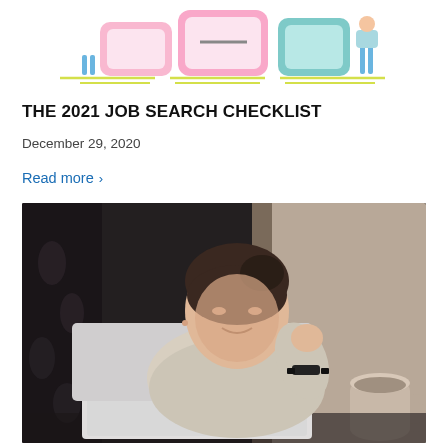[Figure (illustration): Colorful illustration of people using mobile phones and digital devices, with pink and teal color scheme and yellow/green lines at bottom]
THE 2021 JOB SEARCH CHECKLIST
December 29, 2020
Read more >
[Figure (photo): Young woman with dark hair sitting at a desk looking at a laptop computer, wearing a light gray sweater and a black watch, with a mug on the right side. Dark background with floral wallpaper pattern.]